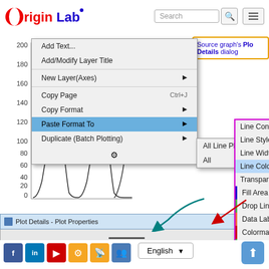[Figure (screenshot): OriginLab website screenshot showing a context menu with 'Paste Format To' > 'All Line Plots' submenu expanded, showing line plot property options. A graph with bell curve peaks is visible in the background. A callout box reads 'Source graph's Plot Details dialog'. A 'Plot Details - Plot Properties' dialog bar is visible at the bottom of the graph area.]
Facebook LinkedIn YouTube Settings RSS Groups | English | Upload button